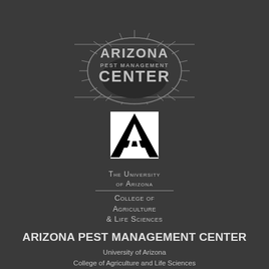[Figure (logo): Arizona Pest Management Center logo — oval/ellipse with starburst design, text ARIZONA PEST MANAGEMENT CENTER in gray on dark background]
[Figure (logo): University of Arizona block A logo in black and white, with text THE UNIVERSITY OF ARIZONA / College of Agriculture & Life Sciences below]
ARIZONA PEST MANAGEMENT CENTER
University of Arizona
College of Agriculture and Life Sciences
Maricopa Agricultural Center
37860 W. Smith-Enke Road
Maricopa, AZ 85239